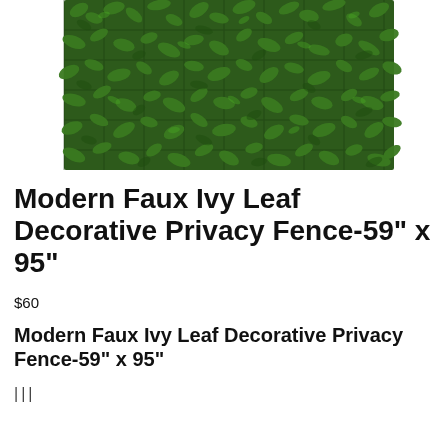[Figure (photo): Photo of a Modern Faux Ivy Leaf Decorative Privacy Fence panel showing dense green artificial leaves on a lattice/mesh background]
Modern Faux Ivy Leaf Decorative Privacy Fence-59" x 95"
$60
Modern Faux Ivy Leaf Decorative Privacy Fence-59" x 95"
|||